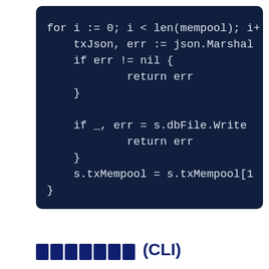[Figure (screenshot): Code block on dark navy background showing Go code: a for loop iterating over mempool, marshalling to JSON, writing to dbFile, updating txMempool slice, and returning nil.]
▓▓▓▓▓▓▓ (CLI)